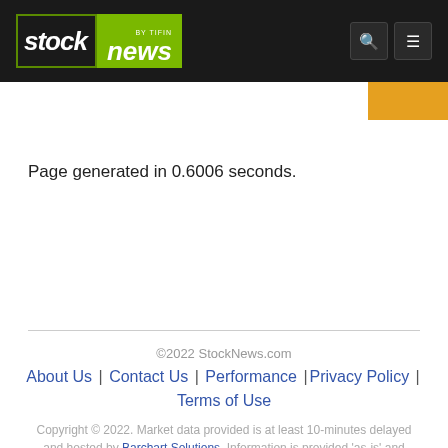stock news by TIFIN
Page generated in 0.6006 seconds.
©2022 StockNews.com | About Us | Contact Us | Performance | Privacy Policy | Terms of Use
Copyright © 2022. Market data provided is at least 10-minutes delayed and hosted by Barchart Solutions. Information is provided 'as-is' and solely for